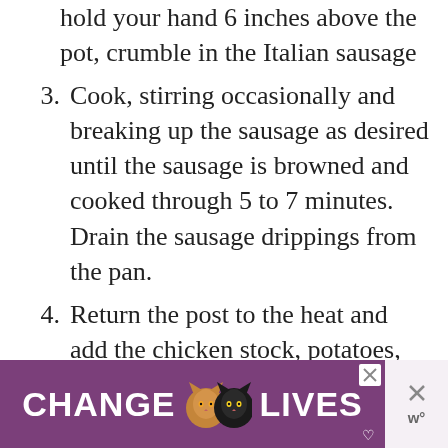hold your hand 6 inches above the pot, crumble in the Italian sausage
3. Cook, stirring occasionally and breaking up the sausage as desired until the sausage is browned and cooked through 5 to 7 minutes. Drain the sausage drippings from the pan.
4. Return the post to the heat and add the chicken stock, potatoes, salt, and red pepper flakes.
5. Boil until the potatoes are fork-tender, about 15 minutes.
6. Use a slotted spoon to remove 1 cup
[Figure (other): Advertisement banner with purple background showing two cat icons and the text CHANGE LIVES with close buttons]